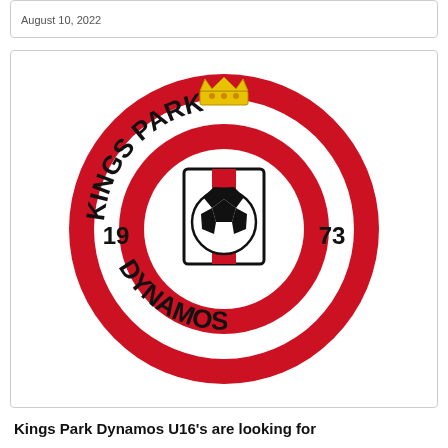August 10, 2022
[Figure (logo): Kings Park Dynamos football club circular badge/logo. Red outer ring with white inner ring. Text 'KINGS PARK' arced across top, 'DYNAMOS' arced across bottom, '19' on left and '73' on right. Center shows a white square shield with red vertical stripe, containing a black and white football/soccer ball. A yellow crown sits at the top of the badge.]
Kings Park Dynamos U16's are looking for